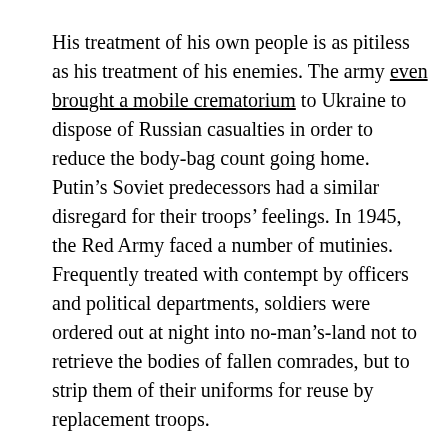His treatment of his own people is as pitiless as his treatment of his enemies. The army even brought a mobile crematorium to Ukraine to dispose of Russian casualties in order to reduce the body-bag count going home. Putin's Soviet predecessors had a similar disregard for their troops' feelings. In 1945, the Red Army faced a number of mutinies. Frequently treated with contempt by officers and political departments, soldiers were ordered out at night into no-man's-land not to retrieve the bodies of fallen comrades, but to strip them of their uniforms for reuse by replacement troops.